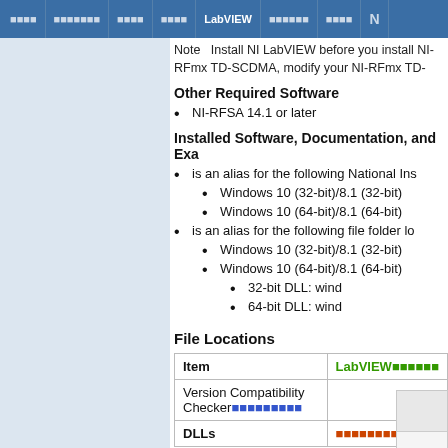LabVIEW (navigation bar with items)
Note  Install NI LabVEIW before you install NI-RFmx TD-SCDMA, modify your NI-RFmx TD-
Other Required Software
NI-RFSA 14.1 or later
Installed Software, Documentation, and Exa
is an alias for the following National Ins
Windows 10 (32-bit)/8.1 (32-bit)
Windows 10 (64-bit)/8.1 (64-bit)
is an alias for the following file folder lo
Windows 10 (32-bit)/8.1 (32-bit)
Windows 10 (64-bit)/8.1 (64-bit)
32-bit DLL: wind
64-bit DLL: wind
File Locations
| Item | LabVIEWデータ |  |
| --- | --- | --- |
| Version Compatibility Checker | データーーーーー |  |
| DLLs |  | データーーーー |